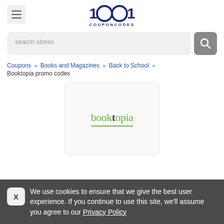[Figure (logo): 1001 CouponCodes logo with hamburger menu button]
[Figure (screenshot): Search bar with 'search stores' placeholder and search button]
Coupons » Books and Magazines » Back to School »
Booktopia promo codes
[Figure (logo): Booktopia logo inside a card]
We use cookies to ensure that we give the best user experience. If you continue to use this site, we'll assume you agree to our Privacy Policy